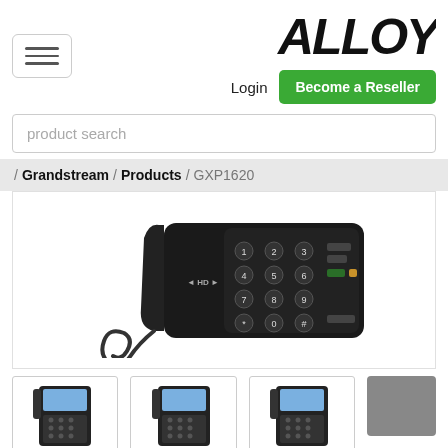[Figure (logo): ALLOY brand logo in bold black italic letters]
Login
Become a Reseller
product search
/ Grandstream / Products / GXP1620
[Figure (photo): Grandstream GXP1620 IP desk phone, top-down angled view, black, with handset and keypad visible]
[Figure (photo): Thumbnail 1: Grandstream GXP1620 front view, small]
[Figure (photo): Thumbnail 2: Grandstream GXP1620 front view, small]
[Figure (photo): Thumbnail 3: Grandstream GXP1620 front view, small]
[Figure (other): Gray rectangle placeholder thumbnail]